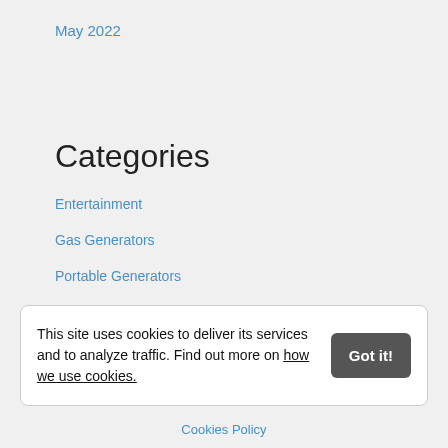May 2022
Categories
Entertainment
Gas Generators
Portable Generators
Power Generators
This site uses cookies to deliver its services and to analyze traffic. Find out more on how we use cookies.
Cookies Policy